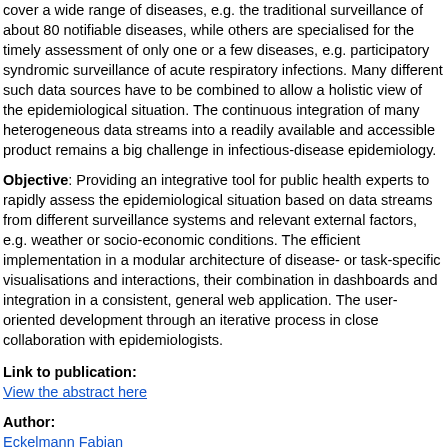cover a wide range of diseases, e.g. the traditional surveillance of about 80 notifiable diseases, while others are specialised for the timely assessment of only one or a few diseases, e.g. participatory syndromic surveillance of acute respiratory infections. Many different such data sources have to be combined to allow a holistic view of the epidemiological situation. The continuous integration of many heterogeneous data streams into a readily available and accessible product remains a big challenge in infectious-disease epidemiology.
Objective: Providing an integrative tool for public health experts to rapidly assess the epidemiological situation based on data streams from different surveillance systems and relevant external factors, e.g. weather or socio-economic conditions. The efficient implementation in a modular architecture of disease- or task-specific visualisations and interactions, their combination in dashboards and integration in a consistent, general web application. The user-oriented development through an iterative process in close collaboration with epidemiologists.
Link to publication:
View the abstract here
Author:
Eckelmann Fabian